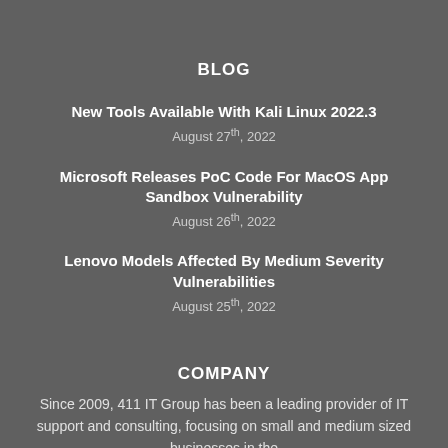BLOG
New Tools Available With Kali Linux 2022.3
August 27th, 2022
Microsoft Releases PoC Code For MacOS App Sandbox Vulnerability
August 26th, 2022
Lenovo Models Affected By Medium Severity Vulnerabilities
August 25th, 2022
COMPANY
Since 2009, 411 IT Group has been a leading provider of IT support and consulting, focusing on small and medium sized businesses in the